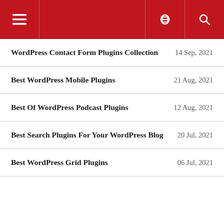≡ [menu icon] [link icon] [search icon]
WordPress Contact Form Plugins Collection | 14 Sep, 2021
Best WordPress Mobile Plugins | 21 Aug, 2021
Best Of WordPress Podcast Plugins | 12 Aug, 2021
Best Search Plugins For Your WordPress Blog | 20 Jul, 2021
Best WordPress Grid Plugins | 06 Jul, 2021